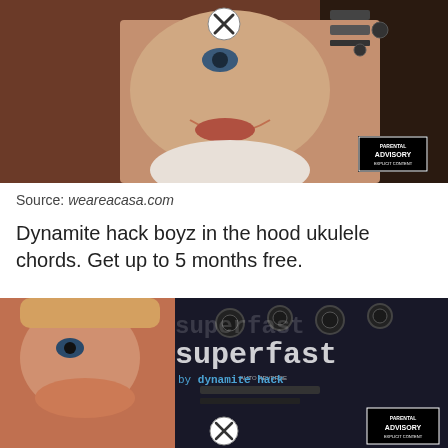[Figure (photo): Album cover photo showing a woman's face with audio equipment in background, with a close button (X in circle) overlay and Parental Advisory label. Brown/warm toned image cropped at top.]
Source: weareacasa.com
Dynamite hack boyz in the hood ukulele chords. Get up to 5 months free.
[Figure (photo): Album cover for 'superfast by dynamite hack' showing a child's face on left side and audio equipment/mixing board in background. Dark blue tones. Text reads 'superfast by dynamite hack'. Close button (X in circle) and Parental Advisory label visible at bottom.]